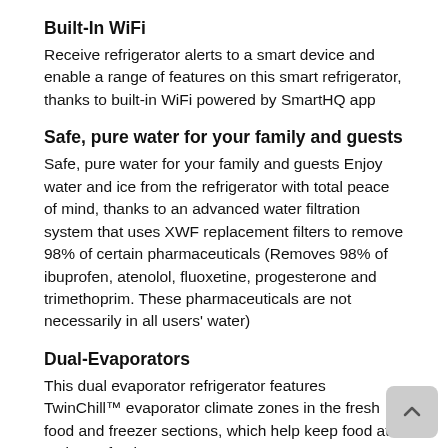Built-In WiFi
Receive refrigerator alerts to a smart device and enable a range of features on this smart refrigerator, thanks to built-in WiFi powered by SmartHQ app
Safe, pure water for your family and guests
Safe, pure water for your family and guests Enjoy water and ice from the refrigerator with total peace of mind, thanks to an advanced water filtration system that uses XWF replacement filters to remove 98% of certain pharmaceuticals (Removes 98% of ibuprofen, atenolol, fluoxetine, progesterone and trimethoprim. These pharmaceuticals are not necessarily in all users' water)
Dual-Evaporators
This dual evaporator refrigerator features TwinChill™ evaporator climate zones in the fresh food and freezer sections, which help keep food at optimum freshness
Integrated Dispenser with Sensor
The integrated dispenser blends in with the refrigerator when not in use and, thanks to its refrigerator dispenser sensor system, automatically illuminates when you're